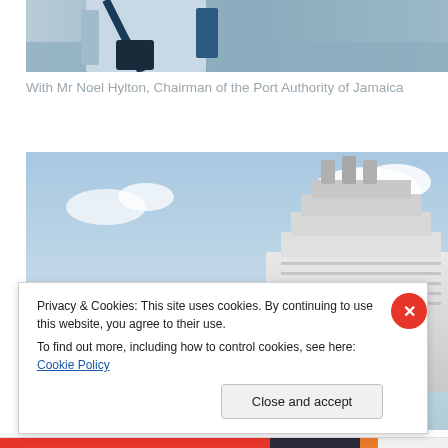[Figure (photo): Partial view of a person wearing a light blue shirt with a bag strap, standing near water. Only the torso/lower body is visible. Background shows water.]
With Mr Noel Hylton, Chairman of the Port Authority of Jamaica
[Figure (photo): A person's head visible in foreground with a large cruise ship and port crane visible in the background under a partly cloudy sky.]
Privacy & Cookies: This site uses cookies. By continuing to use this website, you agree to their use.
To find out more, including how to control cookies, see here: Cookie Policy
Close and accept